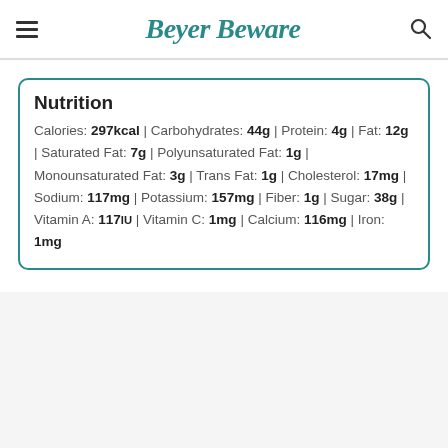Beyer Beware
Nutrition
Calories: 297kcal | Carbohydrates: 44g | Protein: 4g | Fat: 12g | Saturated Fat: 7g | Polyunsaturated Fat: 1g | Monounsaturated Fat: 3g | Trans Fat: 1g | Cholesterol: 17mg | Sodium: 117mg | Potassium: 157mg | Fiber: 1g | Sugar: 38g | Vitamin A: 117IU | Vitamin C: 1mg | Calcium: 116mg | Iron: 1mg